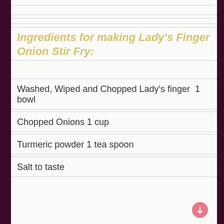Ingredients for making Lady's Finger Onion Stir Fry:
Washed, Wiped and Chopped Lady's finger  1 bowl
Chopped Onions 1 cup
Turmeric powder 1 tea spoon
Salt to taste